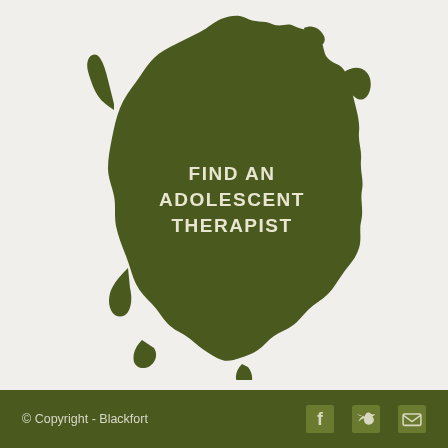[Figure (map): Silhouette map of Ireland in dark olive green with text 'FIND AN ADOLESCENT THERAPIST' overlaid in light cream/white on the island shape. The map shows the full island of Ireland including its irregular coastline. Background is light gray/off-white.]
© Copyright - Blackfort